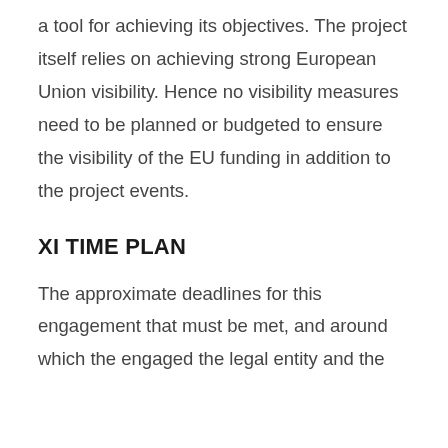a tool for achieving its objectives. The project itself relies on achieving strong European Union visibility. Hence no visibility measures need to be planned or budgeted to ensure the visibility of the EU funding in addition to the project events.
XI TIME PLAN
The approximate deadlines for this engagement that must be met, and around which the engaged the legal entity and the